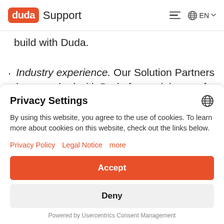duda Support | EN
build with Duda.
Industry experience. Our Solution Partners have worked with Duda for a minimum of a year and all have experience working in the
Privacy Settings
By using this website, you agree to the use of cookies. To learn more about cookies on this website, check out the links below.
Privacy Policy   Legal Notice   more
Accept
Deny
Powered by Usercentrics Consent Management